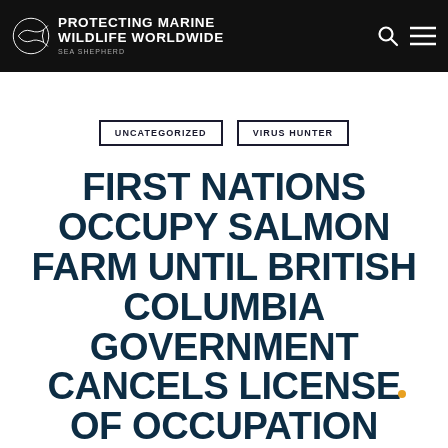SEA SHEPHERD – PROTECTING MARINE WILDLIFE WORLDWIDE
UNCATEGORIZED
VIRUS HUNTER
FIRST NATIONS OCCUPY SALMON FARM UNTIL BRITISH COLUMBIA GOVERNMENT CANCELS LICENSE OF OCCUPATION